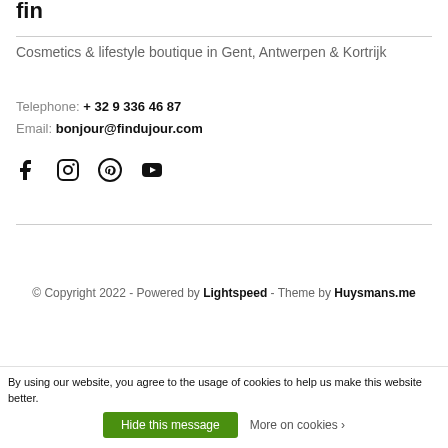Cosmetics & lifestyle boutique in Gent, Antwerpen & Kortrijk
Telephone: + 32 9 336 46 87
Email: bonjour@findujour.com
[Figure (illustration): Social media icons: Facebook, Instagram, Pinterest, YouTube]
© Copyright 2022 - Powered by Lightspeed - Theme by Huysmans.me
By using our website, you agree to the usage of cookies to help us make this website better.